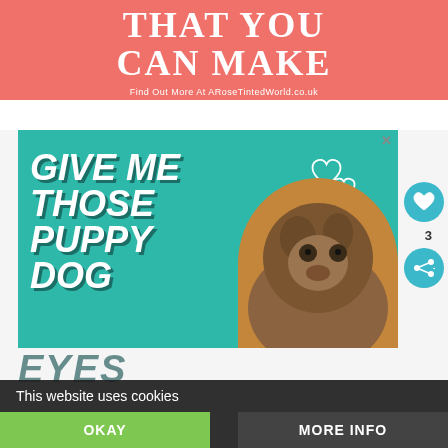THAT YOU CAN MAKE
Find Out More At ARoseTintedWorld.co.uk
[Figure (photo): Advertisement with teal background showing 'GIVE ME THOSE PUPPY DOG' in bold white italic text with a dog photo and heart icons, plus a 'What's Next' panel for Unique Gift Ideas]
This website uses cookies
OKAY
MORE INFO